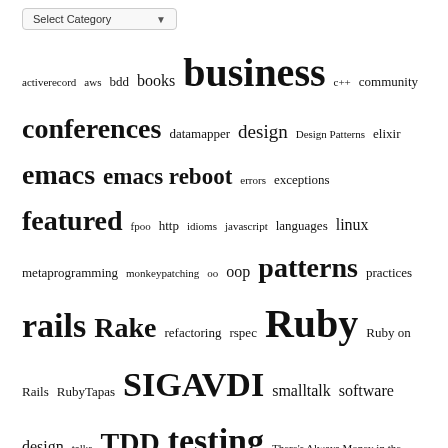[Figure (other): Select Category dropdown widget]
activerecord aws bdd books business c++ community conferences datamapper design Design Patterns elixir emacs emacs reboot errors exceptions featured fpoo http idioms javascript languages linux metaprogramming monkeypatching oo oop patterns practices rails Rake refactoring rspec Ruby Ruby on Rails RubyTapas SIGAVDI smalltalk software design talks TDD testing There's Always Money in the Banana Stand tools ubuntu
Archives
[Figure (other): Select Month dropdown widget]
RSS - Posts